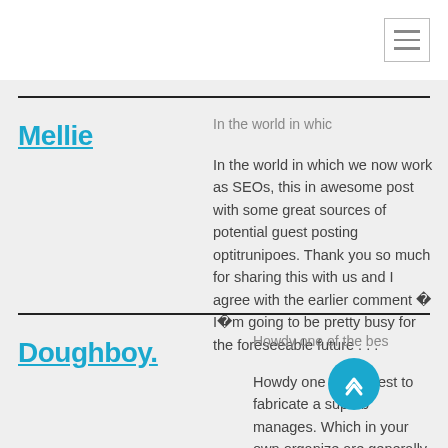Mellie
In the world in whic
In the world in which we now work as SEOs, this in awesome post with some great sources of potential guest posting optitrunipoes. Thank you so much for sharing this with us and I agree with the earlier comment â Iâm going to be pretty busy for the foreseeable future . . .
Doughboy.
Howdy one of the bes
Howdy one of the best to fabricate a superb manages. Which in your own organize are generally sprinting the...